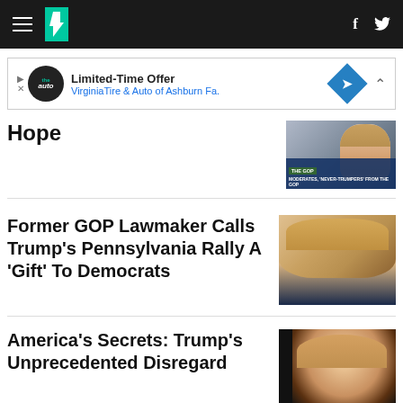HuffPost navigation with hamburger menu, logo, Facebook and Twitter icons
[Figure (screenshot): Advertisement banner: Limited-Time Offer Virginia Tire & Auto of Ashburn Fa.]
Hope
[Figure (screenshot): TV screenshot showing text: MODERATES, 'NEVER-TRUMPERS' FROM THE GOP with THE GOP badge]
Former GOP Lawmaker Calls Trump's Pennsylvania Rally A 'Gift' To Democrats
[Figure (photo): Close-up photo of Donald Trump speaking]
America's Secrets: Trump's Unprecedented Disregard